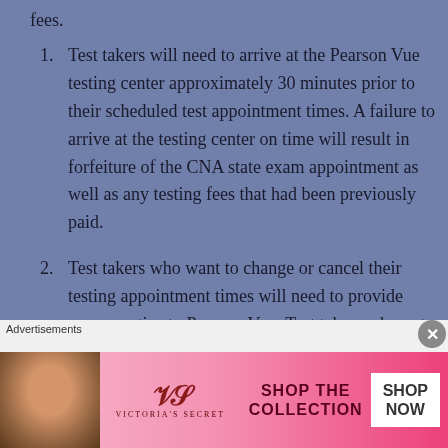fees.
Test takers will need to arrive at the Pearson Vue testing center approximately 30 minutes prior to their scheduled test appointment times. A failure to arrive at the testing center on time will result in forfeiture of the CNA state exam appointment as well as any testing fees that had been previously paid.
Test takers who want to change or cancel their testing appointment times will need to provide proper notice to Pearson Vue. Test takers who opt to change or cancel their state test appointment
Advertisements
[Figure (photo): Victoria's Secret advertisement banner with model, logo, 'SHOP THE COLLECTION' text and 'SHOP NOW' button]